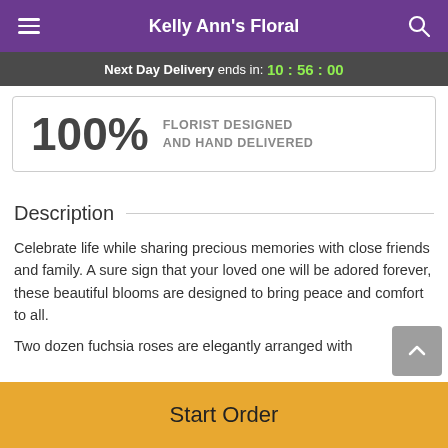Kelly Ann's Floral
Next Day Delivery ends in: 10 : 56 : 00
100% FLORIST DESIGNED AND HAND DELIVERED
Description
Celebrate life while sharing precious memories with close friends and family. A sure sign that your loved one will be adored forever, these beautiful blooms are designed to bring peace and comfort to all.
Two dozen fuchsia roses are elegantly arranged with
Start Order